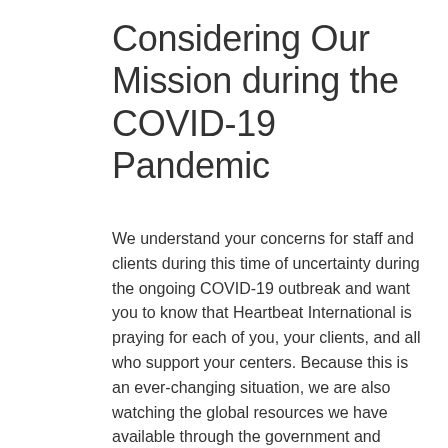Considering Our Mission during the COVID-19 Pandemic
We understand your concerns for staff and clients during this time of uncertainty during the ongoing COVID-19 outbreak and want you to know that Heartbeat International is praying for each of you, your clients, and all who support your centers. Because this is an ever-changing situation, we are also watching the global resources we have available through the government and would recommend centers do the same: the Centers for Disease Control and Prevention (CDC.gov), and the World Health Organization (WHO.int).